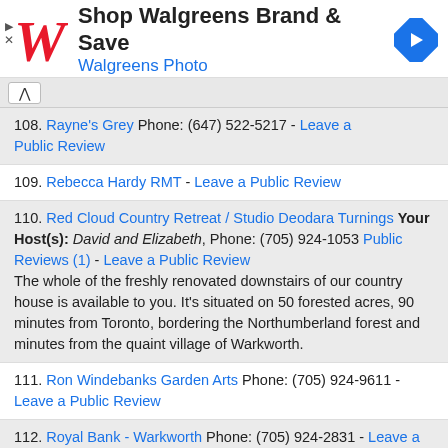[Figure (screenshot): Walgreens advertisement banner with logo, 'Shop Walgreens Brand & Save' text, 'Walgreens Photo' subtitle, and navigation arrow icon]
108. Rayne's Grey Phone: (647) 522-5217 - Leave a Public Review
109. Rebecca Hardy RMT - Leave a Public Review
110. Red Cloud Country Retreat / Studio Deodara Turnings Your Host(s): David and Elizabeth, Phone: (705) 924-1053 Public Reviews (1) - Leave a Public Review
The whole of the freshly renovated downstairs of our country house is available to you. It's situated on 50 forested acres, 90 minutes from Toronto, bordering the Northumberland forest and minutes from the quaint village of Warkworth.
111. Ron Windebanks Garden Arts Phone: (705) 924-9611 - Leave a Public Review
112. Royal Bank - Warkworth Phone: (705) 924-2831 - Leave a Public Review